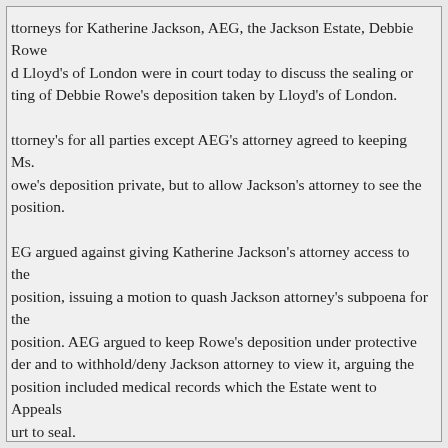ttorneys for Katherine Jackson, AEG, the Jackson Estate, Debbie Rowe d Lloyd's of London were in court today to discuss the sealing or ting of Debbie Rowe's deposition taken by Lloyd's of London.
ttorney's for all parties except AEG's attorney agreed to keeping Ms. owe's deposition private, but to allow Jackson's attorney to see the position.
EG argued against giving Katherine Jackson's attorney access to the position, issuing a motion to quash Jackson attorney's subpoena for the position. AEG argued to keep Rowe's deposition under protective der and to withhold/deny Jackson attorney to view it, arguing the position included medical records which the Estate went to Appeals urt to seal.
ckson's attorney, Panish argued that the deposition is under a protective der with this court and any filing with the appeals court to seal is a tally separate issue.  Panish then argued that AEG is ultimately trying